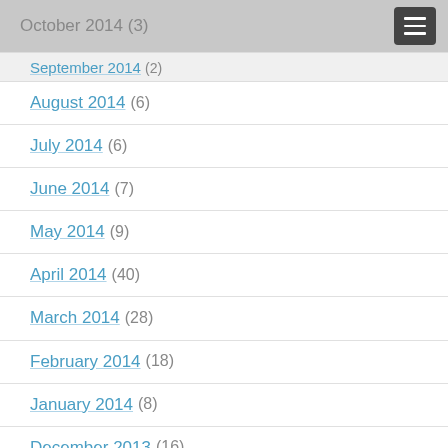October 2014 (3)
September 2014 (2)
August 2014 (6)
July 2014 (6)
June 2014 (7)
May 2014 (9)
April 2014 (40)
March 2014 (28)
February 2014 (18)
January 2014 (8)
December 2013 (16)